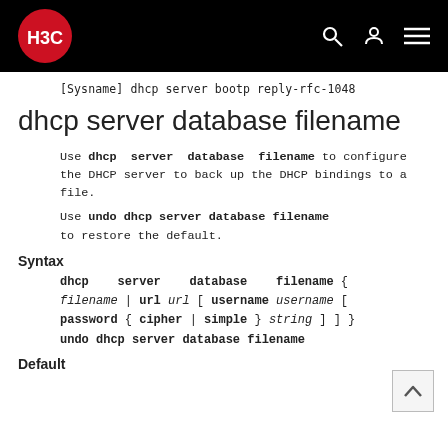H3C logo and navigation bar
[Sysname] dhcp server bootp reply-rfc-1048
dhcp server database filename
Use dhcp server database filename to configure the DHCP server to back up the DHCP bindings to a file.
Use undo dhcp server database filename to restore the default.
Syntax
dhcp server database filename { filename | url url [ username username [ password { cipher | simple } string ] ] }
undo dhcp server database filename
Default